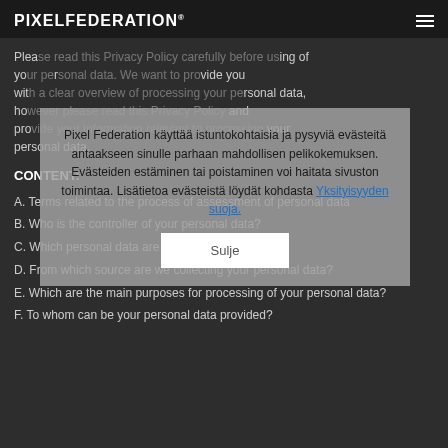PIXELFEDERATION®
Please read this Privacy Policy carefully before using of your personal data. We want to provide you with a clear overview of processing your personal data, however please read this Privacy Policy and provide your information relevant to processing your personal data.
Pixel Federation käyttää istuntokohtaisia ja pysyviä evästeitä antaakseen sinulle parhaan mahdollisen pelikokemuksen. Evästeiden estäminen tai poistaminen voi haitata sivuston toimintaa. Lisätietoa evästeistä löydät kohdasta Yksityisyyden suoja.
Sulje
CONTENT:
A. Terms related to the process of assessment of personal data
B. Who is the controller of your personal data?
C. Which personal data are we processing?
D. From which source are we collecting your personal data?
E. Which are the main purposes for processing of your personal data?
F. To whom can be your personal data provided?